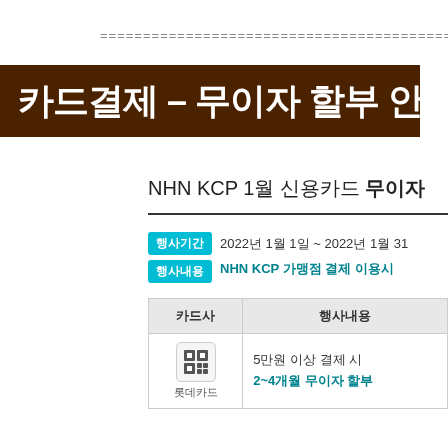======================================================
카드결제 - 무이자 할부 안
NHN KCP 1월 신용카드 무이자
행사기간: 2022년 1월 1일 ~ 2022년 1월 31
행사내용: NHN KCP 가맹점 결제 이용시
| 카드사 | 행사내용 |
| --- | --- |
| 롯데카드 | 5만원 이상 결제 시
2~4개월 무이자 할부 |